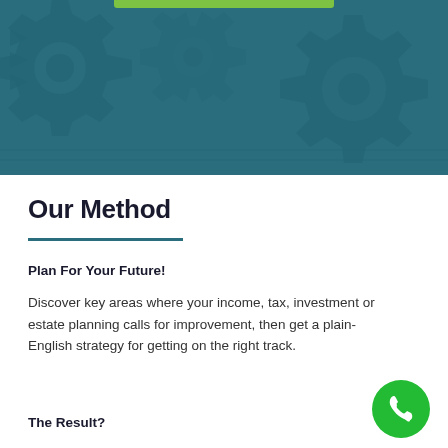[Figure (illustration): Teal/dark teal header banner with gear/cog wheel silhouettes pattern and a green bar accent at top center]
Our Method
Plan For Your Future!
Discover key areas where your income, tax, investment or estate planning calls for improvement, then get a plain-English strategy for getting on the right track.
The Result?